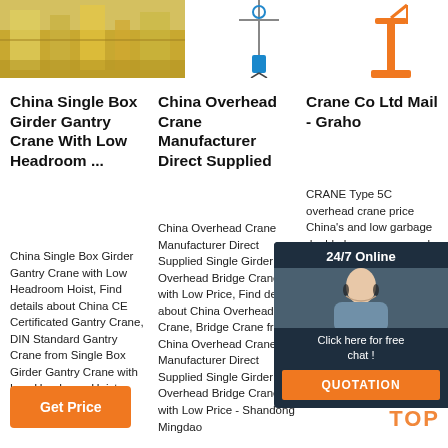[Figure (photo): Industrial machinery/factory image on left; overhead crane image in center; orange crane icon on right]
China Single Box Girder Gantry Crane With Low Headroom ...
China Single Box Girder Gantry Crane with Low Headroom Hoist, Find details about China CE Certificated Gantry Crane, DIN Standard Gantry Crane from Single Box Girder Gantry Crane with Low Headroom Hoist - Hangzhou Nante Machinery Co., Ltd.
China Overhead Crane Manufacturer Direct Supplied
China Overhead Crane Manufacturer Direct Supplied Single Girder Overhead Bridge Crane with Low Price, Find details about China Overhead Crane, Bridge Crane from China Overhead Crane Manufacturer Direct Supplied Single Girder Overhead Bridge Crane with Low Price - Shandong Mingdao
Crane Co Ltd Mail - Graho
CRANE Type 5C overhead crane price China's and low garbage double beam crane, grab dou Quality 3ton small crawler crane for sale, 3ton small crawler crane provided by China Suppliers - Zhengzhou Kb Crane Co.
[Figure (photo): 24/7 Online chat widget with woman wearing headset, click here for free chat, QUOTATION button]
Click here for free chat !
QUOTATION